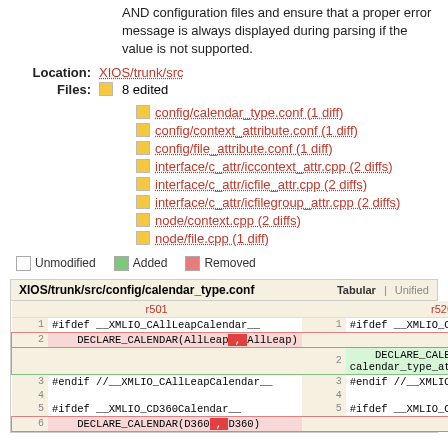AND configuration files and ensure that a proper error message is always displayed during parsing if the value is not supported.
Location: XIOS/trunk/src
Files: 8 edited
config/calendar_type.conf (1 diff)
config/context_attribute.conf (1 diff)
config/file_attribute.conf (1 diff)
interface/c_attr/iccontext_attr.cpp (2 diffs)
interface/c_attr/icfile_attr.cpp (2 diffs)
interface/c_attr/icfilegroup_attr.cpp (2 diffs)
node/context.cpp (2 diffs)
node/file.cpp (1 diff)
Unmodified  Added  Removed
| r501 | r526 |  |
| --- | --- | --- |
| 1 | 1 | #ifdef __XMLIO_CAllLeapCalendar__ |
| 2 |  |     DECLARE_CALENDAR(AllLeap , AllLeap) |
|  | 2 |     DECLARE_CALENDAR(AllLeap, calendar_type_attr::AllLeap) |
| 3 | 3 | #endif //__XMLIO_CAllLeapCalendar__ |
| 4 | 4 |  |
| 5 | 5 | #ifdef __XMLIO_CD360Calendar__ |
| 6 |  |     DECLARE_CALENDAR(D360 , D360) |